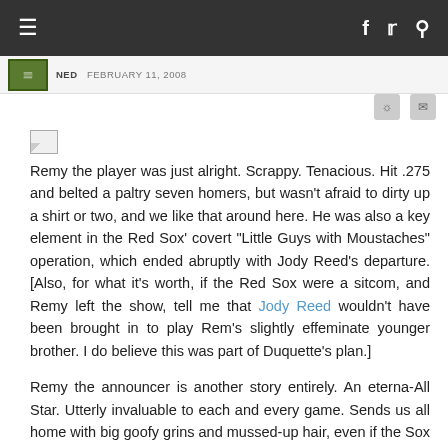≡  f  🐦  🔍
NED  FEBRUARY 11, 2008
[Figure (other): Broken image placeholder thumbnail]
Remy the player was just alright. Scrappy. Tenacious. Hit .275 and belted a paltry seven homers, but wasn't afraid to dirty up a shirt or two, and we like that around here. He was also a key element in the Red Sox' covert "Little Guys with Moustaches" operation, which ended abruptly with Jody Reed's departure. [Also, for what it's worth, if the Red Sox were a sitcom, and Remy left the show, tell me that Jody Reed wouldn't have been brought in to play Rem's slightly effeminate younger brother. I do believe this was part of Duquette's plan.]
Remy the announcer is another story entirely. An eterna-All Star. Utterly invaluable to each and every game. Sends us all home with big goofy grins and mussed-up hair, even if the Sox got shellacked. I'll be honest: They could have anyone from Mitt Romney to The Pussycat Dolls working the Red Sox play-by-play [note to NESN: Feel free to pull out that last one for "sweeps week"] and I'd still watch the games with a fervor usually